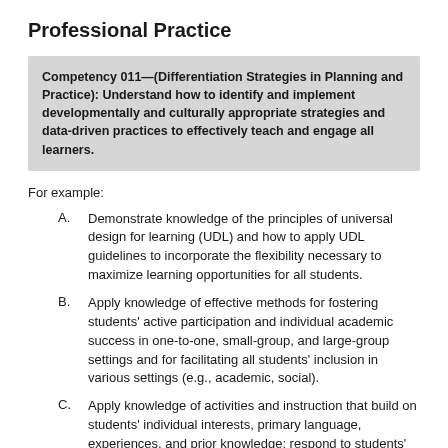Professional Practice
Competency 011—(Differentiation Strategies in Planning and Practice): Understand how to identify and implement developmentally and culturally appropriate strategies and data-driven practices to effectively teach and engage all learners.
For example:
A. Demonstrate knowledge of the principles of universal design for learning (UDL) and how to apply UDL guidelines to incorporate the flexibility necessary to maximize learning opportunities for all students.
B. Apply knowledge of effective methods for fostering students' active participation and individual academic success in one-to-one, small-group, and large-group settings and for facilitating all students' inclusion in various settings (e.g., academic, social).
C. Apply knowledge of activities and instruction that build on students' individual interests, primary language, experiences, and prior knowledge; respond to students' strengths and needs; and promote the development of...